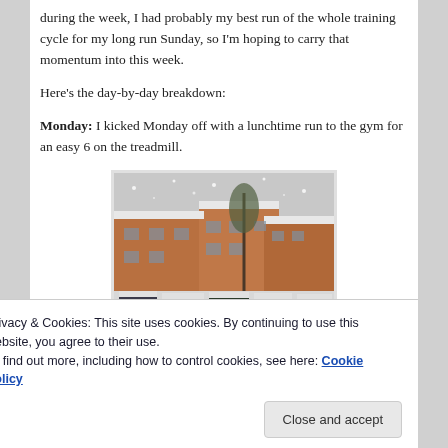during the week, I had probably my best run of the whole training cycle for my long run Sunday, so I'm hoping to carry that momentum into this week.
Here's the day-by-day breakdown:
Monday: I kicked Monday off with a lunchtime run to the gym for an easy 6 on the treadmill.
[Figure (photo): Snow-covered apartment buildings with cars parked in a snowy parking lot, overcast sky.]
Privacy & Cookies: This site uses cookies. By continuing to use this website, you agree to their use.
To find out more, including how to control cookies, see here: Cookie Policy